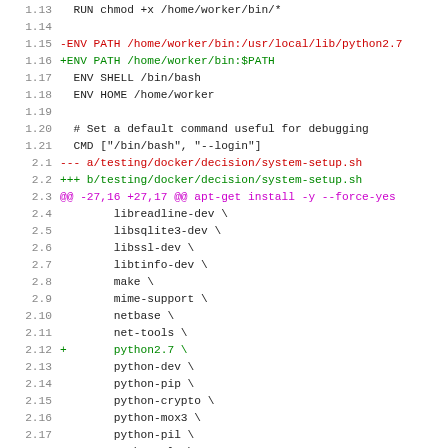Code diff showing changes to Dockerfile and system-setup.sh, including ENV PATH changes and addition of python2.7 package
1.13  RUN chmod +x /home/worker/bin/*
1.14  (empty)
1.15  -ENV PATH /home/worker/bin:/usr/local/lib/python2.7...
1.16  +ENV PATH /home/worker/bin:$PATH
1.17   ENV SHELL /bin/bash
1.18   ENV HOME /home/worker
1.19  (empty)
1.20   # Set a default command useful for debugging
1.21   CMD ["/bin/bash", "--login"]
2.1   --- a/testing/docker/decision/system-setup.sh
2.2   +++ b/testing/docker/decision/system-setup.sh
2.3   @@ -27,16 +27,17 @@ apt-get install -y --force-yes
2.4       libreadline-dev \
2.5       libsqlite3-dev \
2.6       libssl-dev \
2.7       libtinfo-dev \
2.8       make \
2.9       mime-support \
2.10      netbase \
2.11      net-tools \
2.12  +   python2.7 \
2.13      python-dev \
2.14      python-pip \
2.15      python-crypto \
2.16      python-mox3 \
2.17      python-pil \
2.18      python-ply \
2.19      quilt \
2.20      tar \
2.21  @@ -50,37 +51,16 @@ mkdir $BUILD
2.22   tooltool_fetch() {
2.23       cat >manifest.tt
2.24       python $BUILD/tooltool.py fetch